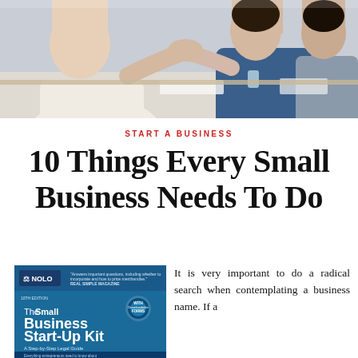[Figure (photo): Business people shaking hands across a meeting table in an office setting]
START A BUSINESS
10 Things Every Small Business Needs To Do
[Figure (photo): Book cover: The Small Business Start-Up Kit by NOLO, 10th Edition, A Step-by-Step Legal Guide]
It is very important to do a radical search when contemplating a business name. If a